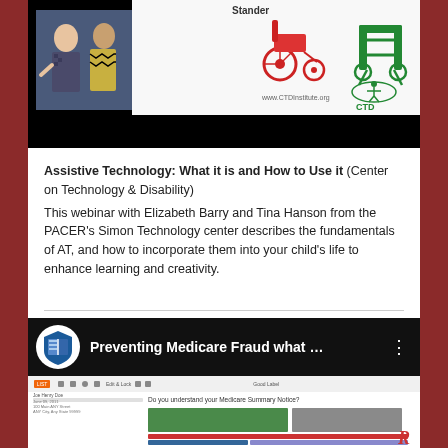[Figure (screenshot): Video player screenshot showing a webinar with two speakers on the left and a presentation slide about assistive technology (wheelchair/stander images) on the right. CTD logo visible. Bottom portion is black (video controls area).]
Assistive Technology: What it is and How to Use it (Center on Technology & Disability) This webinar with Elizabeth Barry and Tina Hanson from the PACER's Simon Technology center describes the fundamentals of AT, and how to incorporate them into your child's life to enhance learning and creativity.
[Figure (screenshot): YouTube video player showing 'Preventing Medicare Fraud what ...' with a blue shield/book logo, three-dot menu icon, and a document/presentation slide visible below the title bar showing Medicare Summary Notice content.]